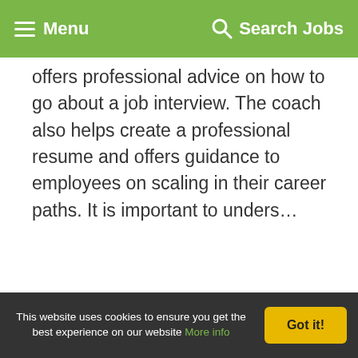Menu   Search Jobs
offers professional advice on how to go about a job interview. The coach also helps create a professional resume and offers guidance to employees on scaling in their career paths. It is important to unders…
[Figure (logo): Jooble logo — stylized rabbit fish above the word 'jooble' in blue-green text]
[Figure (infographic): Indeed advertisement banner with Indeed logo ('The world's #1 job site') and a 'Post Job' blue button]
This website uses cookies to ensure you get the best experience on our website More info   Got it!